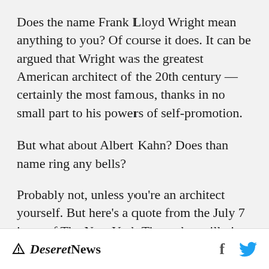Does the name Frank Lloyd Wright mean anything to you? Of course it does. It can be argued that Wright was the greatest American architect of the 20th century — certainly the most famous, thanks in no small part to his powers of self-promotion.
But what about Albert Kahn? Does than name ring any bells?
Probably not, unless you're an architect yourself. But here's a quote from the July 7 issue of The New York Times that will give you an idea of his statu...
Deseret News